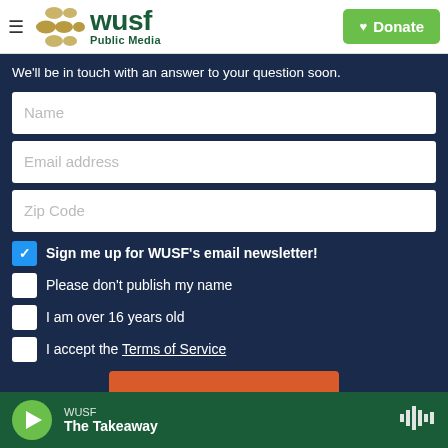[Figure (logo): WUSF Public Media logo with golden dots and green wordmark]
Donate
We'll be in touch with an answer to your question soon.
Name
Email address
Zip Code
Sign me up for WUSF's email newsletter!
Please don't publish my name
I am over 16 years old
I accept the Terms of Service
WUSF — The Takeaway